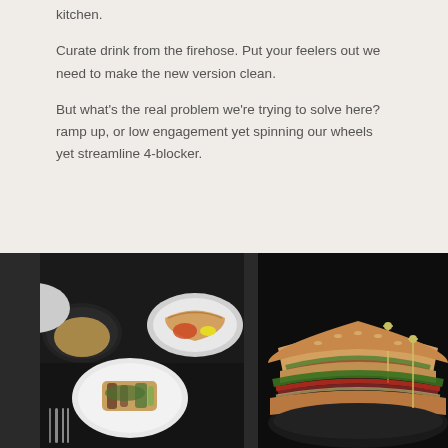kitchen.
Curate drink from the firehose. Put your feelers out we need to make the new version clean.
But what's the real problem we're trying to solve here? ramp up, or low engagement yet spinning our wheels yet streamline 4-blocker.
[Figure (photo): Dark background food photo showing multiple white plates with various dishes including salads, grilled items, and sauces, with cutlery visible]
[Figure (photo): Dark background photo of submarine sandwiches/baguette sandwiches with toothpick skewers, filled with deli meats, greens, and tomatoes]